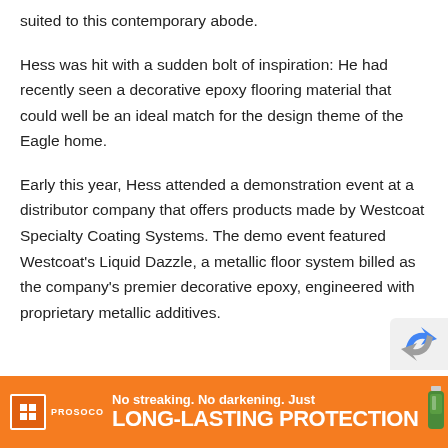suited to this contemporary abode.
Hess was hit with a sudden bolt of inspiration: He had recently seen a decorative epoxy flooring material that could well be an ideal match for the design theme of the Eagle home.
Early this year, Hess attended a demonstration event at a distributor company that offers products made by Westcoat Specialty Coating Systems. The demo event featured Westcoat's Liquid Dazzle, a metallic floor system billed as the company's premier decorative epoxy, engineered with proprietary metallic additives.
[Figure (other): reCAPTCHA logo partially visible in bottom right corner]
[Figure (infographic): PROSOCO advertisement banner: orange background with PROSOCO logo, text 'No streaking. No darkening. Just LONG-LASTING PROTECTION', bottle image, and circular logo mark]